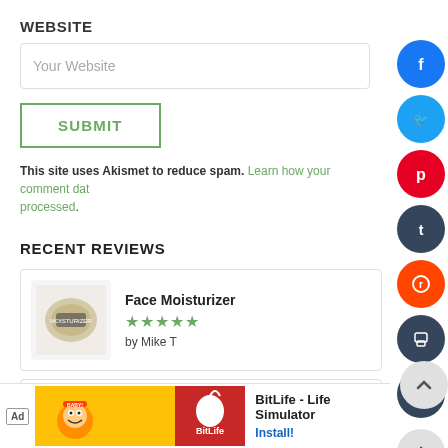WEBSITE
Your Website
SUBMIT
This site uses Akismet to reduce spam. Learn how your comment data is processed.
RECENT REVIEWS
[Figure (screenshot): Review card: Face Moisturizer with 5 stars by Mike T, product image on left]
[Figure (screenshot): Review card: Facial Powder with 5 stars, product image on left]
[Figure (screenshot): Social share buttons panel on right: Facebook, Twitter, Pinterest, Tumblr, Reddit, Print, Email, Plus, Up arrow]
[Figure (screenshot): Ad banner at bottom: BitLife - Life Simulator game advertisement with Install! link]